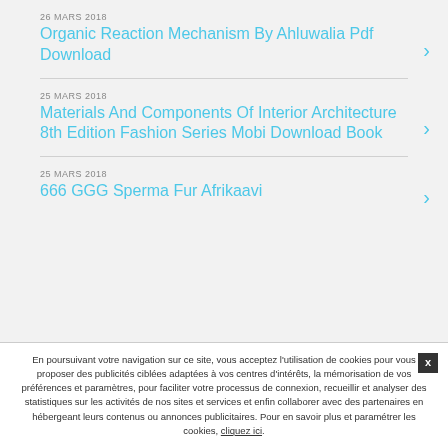26 MARS 2018
Organic Reaction Mechanism By Ahluwalia Pdf Download
25 MARS 2018
Materials And Components Of Interior Architecture 8th Edition Fashion Series Mobi Download Book
25 MARS 2018
666 GGG Sperma Fur Afrikaavi
En poursuivant votre navigation sur ce site, vous acceptez l'utilisation de cookies pour vous proposer des publicités ciblées adaptées à vos centres d'intérêts, la mémorisation de vos préférences et paramètres, pour faciliter votre processus de connexion, recueillir et analyser des statistiques sur les activités de nos sites et services et enfin collaborer avec des partenaires en hébergeant leurs contenus ou annonces publicitaires. Pour en savoir plus et paramétrer les cookies, cliquez ici.